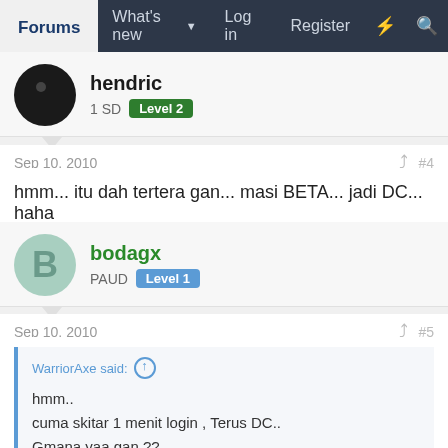Forums | What's new | Log in | Register
hendric
1 SD  Level 2
Sep 10, 2010  #4
hmm... itu dah tertera gan... masi BETA... jadi DC... haha
bodagx
PAUD  Level 1
Sep 10, 2010  #5
WarriorAxe said:
hmm..
cuma skitar 1 menit login , Terus DC..
Gmana yaa gan ??
Pencerahannya plis ^^